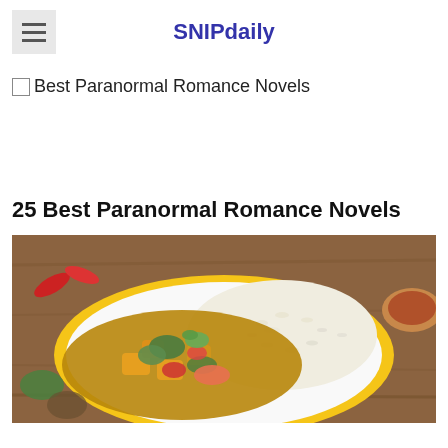SNIPdaily
Best Paranormal Romance Novels
25 Best Paranormal Romance Novels
[Figure (photo): A plate of mixed vegetable curry with rice on a yellow plate, served on a wooden board, with chili peppers and herbs around it.]